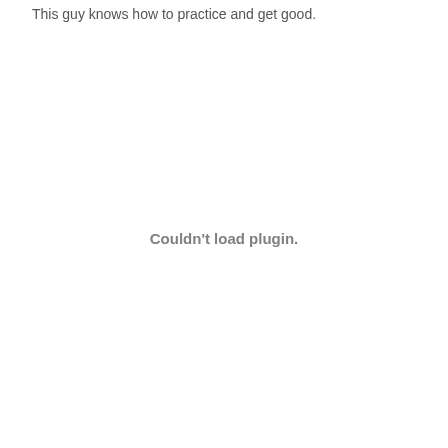This guy knows how to practice and get good.
Couldn't load plugin.